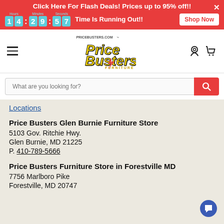Click Here For Flash Deals! Prices up to 95% off!! | 14:29:57 Time Is Running Out!! | Shop Now
[Figure (logo): Price Busters Furniture logo with yellow and black text, PRICEBUSTERS.COM above]
Locations
Price Busters Glen Burnie Furniture Store
5103 Gov. Ritchie Hwy.
Glen Burnie, MD 21225
P. 410-789-5666
Price Busters Furniture Store in Forestville MD
7756 Marlboro Pike
Forestville, MD 20747